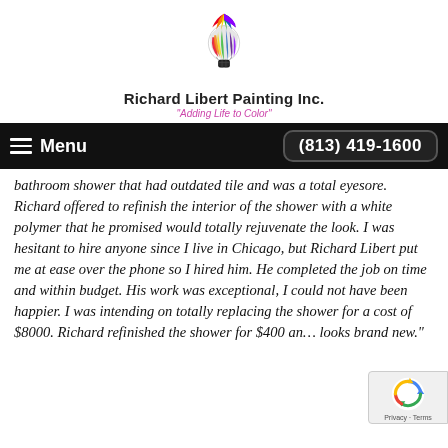[Figure (logo): Richard Libert Painting Inc. logo — colorful hot air balloon with rainbow-colored top above a dark basket]
Richard Libert Painting Inc.
"Adding Life to Color"
Menu   (813) 419-1600
bathroom shower that had outdated tile and was a total eyesore. Richard offered to refinish the interior of the shower with a white polymer that he promised would totally rejuvenate the look. I was hesitant to hire anyone since I live in Chicago, but Richard Libert put me at ease over the phone so I hired him. He completed the job on time and within budget. His work was exceptional, I could not have been happier. I was intending on totally replacing the shower for a cost of $8000. Richard refinished the shower for $400 and looks brand new."